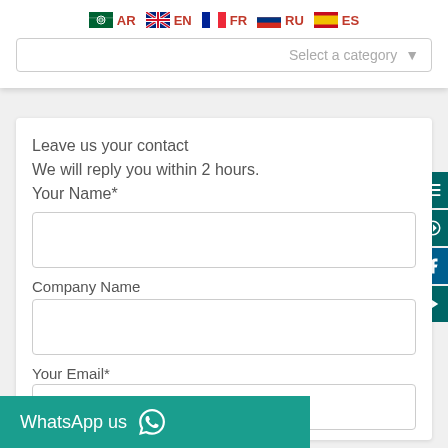[Figure (screenshot): Language selector bar with flags: AR (Arabic), EN (English), FR (French), RU (Russian), ES (Spanish) in orange/red text with flag icons]
[Figure (screenshot): Dropdown UI element with placeholder text 'Select a category' and a down arrow]
Leave us your contact
We will reply you within 2 hours.
Your Name*
[Figure (screenshot): Text input field for Your Name]
Company Name
[Figure (screenshot): Text input field for Company Name]
Your Email*
[Figure (screenshot): WhatsApp us button with WhatsApp icon in teal color]